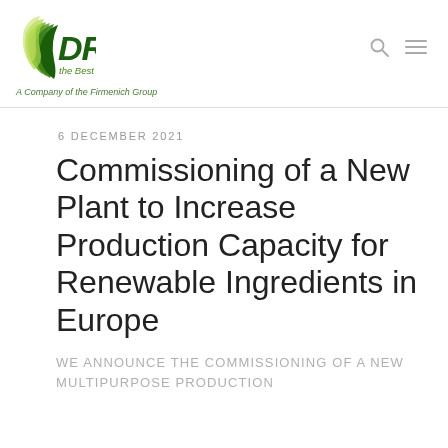DRT the Best for Nature – A Company of the Firmenich Group
6 DECEMBER 2021
Commissioning of a New Plant to Increase Production Capacity for Renewable Ingredients in Europe
WE ANNOUNCE THE COMMISSIONING OF A NEW MULTIPURPOSE PRODUCTION